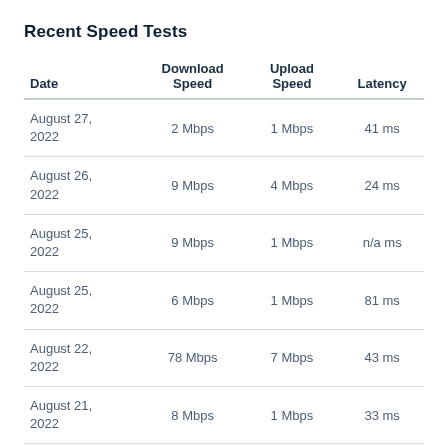Recent Speed Tests
| Date | Download Speed | Upload Speed | Latency |
| --- | --- | --- | --- |
| August 27, 2022 | 2 Mbps | 1 Mbps | 41 ms |
| August 26, 2022 | 9 Mbps | 4 Mbps | 24 ms |
| August 25, 2022 | 9 Mbps | 1 Mbps | n/a ms |
| August 25, 2022 | 6 Mbps | 1 Mbps | 81 ms |
| August 22, 2022 | 78 Mbps | 7 Mbps | 43 ms |
| August 21, 2022 | 8 Mbps | 1 Mbps | 33 ms |